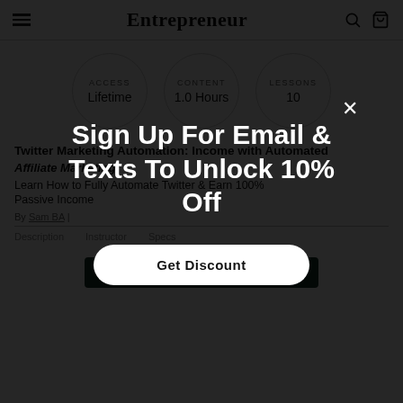Entrepreneur
[Figure (infographic): Three circles showing course specs: ACCESS Lifetime, CONTENT 1.0 Hours, LESSONS 10]
Twitter Marketing Automation: Income with Automated Affiliate Marketing
Learn How to Fully Automate Twitter & Earn 100% Passive Income
By Sam BA | ...
Description   Instructor   Specs
ADD TO CART ($39.99)
[Figure (screenshot): Modal overlay with dark background showing 'Sign Up For Email & Texts To Unlock 10% Off' with a 'Get Discount' button and close X button]